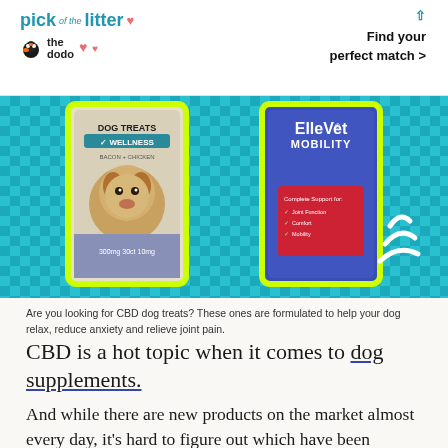pick of the litter ♥ the dodo | Find your perfect match >
[Figure (photo): Two dog supplement product packages with neon yellow borders on a teal checkerboard background. Left package: Dog Treats Wellness label with beagle photo, 300mg dosage. Right package: ElleVet Mobility in blue packaging with red info box.]
Are you looking for CBD dog treats? These ones are formulated to help your dog relax, reduce anxiety and relieve joint pain.
CBD is a hot topic when it comes to dog supplements.
And while there are new products on the market almost every day, it's hard to figure out which have been thoroughly tested to ensure they're safe and effective.